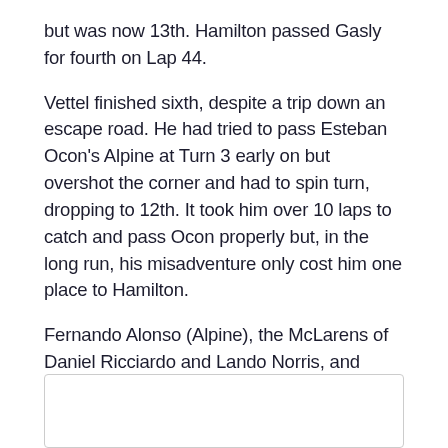but was now 13th. Hamilton passed Gasly for fourth on Lap 44.
Vettel finished sixth, despite a trip down an escape road. He had tried to pass Esteban Ocon's Alpine at Turn 3 early on but overshot the corner and had to spin turn, dropping to 12th. It took him over 10 laps to catch and pass Ocon properly but, in the long run, his misadventure only cost him one place to Hamilton.
Fernando Alonso (Alpine), the McLarens of Daniel Ricciardo and Lando Norris, and Ocon rounded out the point scorers.
[Figure (other): Empty box outline at bottom of page]